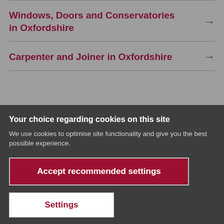Windows, Doors and Conservatories in Oxfordshire →
Carpenter and Joiner in Oxfordshire →
Your choice regarding cookies on this site
We use cookies to optimise site functionality and give you the best possible experience.
Accept recommended settings
Settings